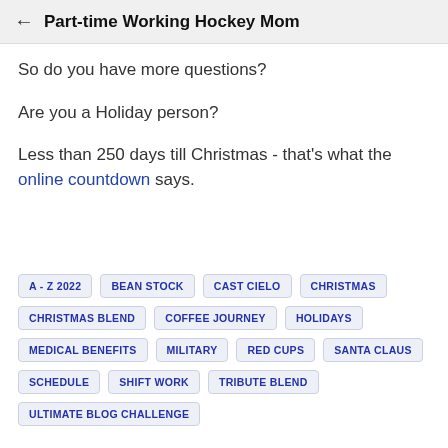Part-time Working Hockey Mom
So do you have more questions?
Are you a Holiday person?
Less than 250 days till Christmas - that's what the online countdown says.
A - Z 2022
BEAN STOCK
CAST CIELO
CHRISTMAS
CHRISTMAS BLEND
COFFEE JOURNEY
HOLIDAYS
MEDICAL BENEFITS
MILITARY
RED CUPS
SANTA CLAUS
SCHEDULE
SHIFT WORK
TRIBUTE BLEND
ULTIMATE BLOG CHALLENGE